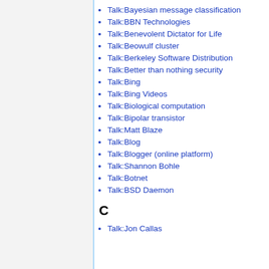Talk:Bayesian message classification
Talk:BBN Technologies
Talk:Benevolent Dictator for Life
Talk:Beowulf cluster
Talk:Berkeley Software Distribution
Talk:Better than nothing security
Talk:Bing
Talk:Bing Videos
Talk:Biological computation
Talk:Bipolar transistor
Talk:Matt Blaze
Talk:Blog
Talk:Blogger (online platform)
Talk:Shannon Bohle
Talk:Botnet
Talk:BSD Daemon
C
Talk:Jon Callas